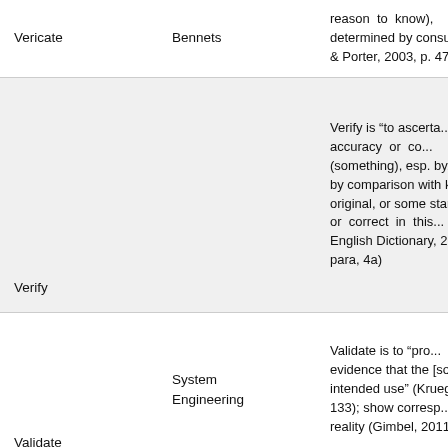| Term | Source | Definition |
| --- | --- | --- |
| Vericate | Bennets | reason to know), determined by consu... & Porter, 2003, p. 477) |
| Verify |  | Verify is "to ascerta... accuracy or co... (something), esp. by... by comparison with k... original, or some stan... or correct in this... English Dictionary, 2... para, 4a) |
| Validate | System Engineering | Validate is to "pro... evidence that the [sol... intended use" (Kruege... 133); show corresp... reality (Gimbel, 2011 l. 3... |
|  |  | "Things we know th... we know." |